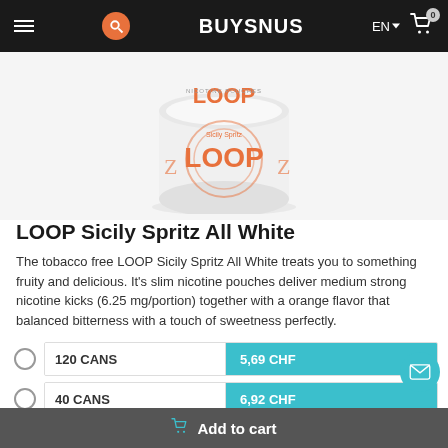BUYSNUS
[Figure (photo): LOOP Sicily Spritz All White nicotine pouch can, white cylindrical tin with orange LOOP branding and decorative circular pattern]
LOOP Sicily Spritz All White
The tobacco free LOOP Sicily Spritz All White treats you to something fruity and delicious. It's slim nicotine pouches deliver medium strong nicotine kicks (6.25 mg/portion) together with a orange flavor that balanced bitterness with a touch of sweetness perfectly.
120 CANS — 5,69 CHF
40 CANS — 6,92 CHF
10 CANS — 8,49 CHF
1 CAN — 8,76 CHF